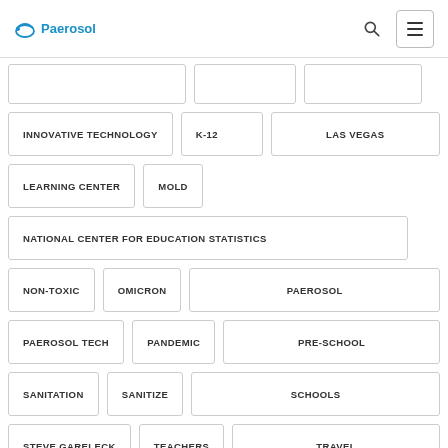Paerosol
INNOVATIVE TECHNOLOGY
K-12
LAS VEGAS
LEARNING CENTER
MOLD
NATIONAL CENTER FOR EDUCATION STATISTICS
NON-TOXIC
OMICRON
PAEROSOL
PAEROSOL TECH
PANDEMIC
PRE-SCHOOL
SANITATION
SANITIZE
SCHOOLS
STEVE GARELECK
TEACHERS
TRAVEL
TRUCK
TRUCK DRIVER SHORTAGE
TRUCKS